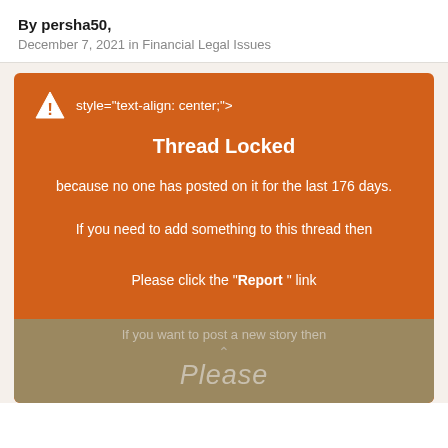By persha50,
December 7, 2021 in Financial Legal Issues
[Figure (screenshot): Orange box with Thread Locked notice, warning icon, code text style='text-align: center;'>, title 'Thread Locked', message about 176 days, instructions to click Report link or post new story.]
Thread Locked
because no one has posted on it for the last 176 days.
If you need to add something to this thread then
Please click the "Report" link
at the bottom of one of the posts.
If you want to post a new story then